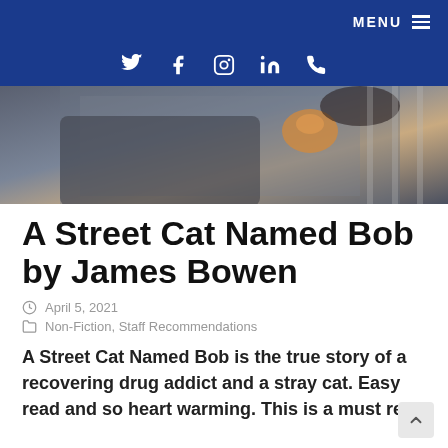MENU ≡
[Figure (other): Social media icons bar: Twitter, Facebook, Instagram, LinkedIn, Phone on dark blue background]
[Figure (photo): Close-up photo of a person wearing a dark knit hat and winter clothing, with an orange cat visible near their shoulder]
A Street Cat Named Bob by James Bowen
April 5, 2021
Non-Fiction, Staff Recommendations
A Street Cat Named Bob is the true story of a recovering drug addict and a stray cat. Easy read and so heart warming. This is a must read